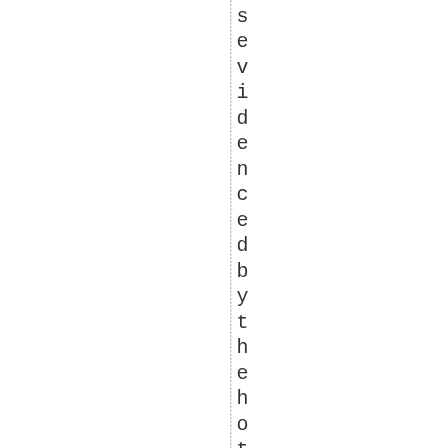s e v i d e n c e d b y t h e h o t . n e w & m u c h b l o